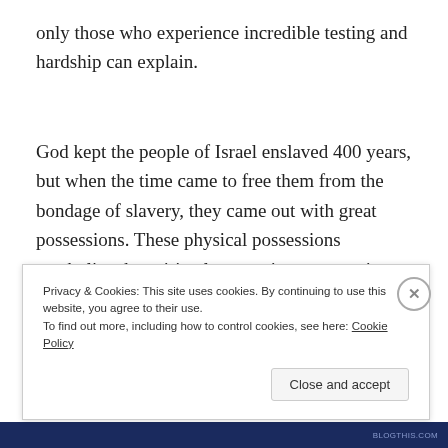only those who experience incredible testing and hardship can explain.
God kept the people of Israel enslaved 400 years, but when the time came to free them from the bondage of slavery, they came out with great possessions. These physical possessions symbolize the spiritual possessions we receive when we come out of being enslaved to
Privacy & Cookies: This site uses cookies. By continuing to use this website, you agree to their use.
To find out more, including how to control cookies, see here: Cookie Policy
Close and accept